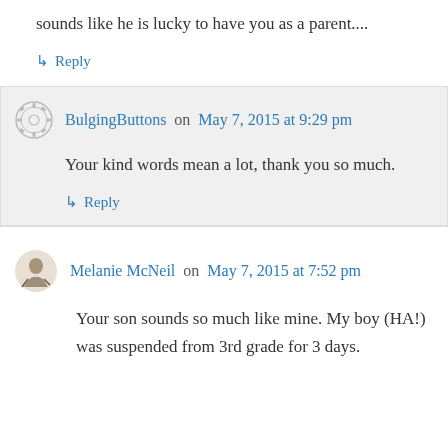sounds like he is lucky to have you as a parent....
↳ Reply
BulgingButtons on May 7, 2015 at 9:29 pm
Your kind words mean a lot, thank you so much.
↳ Reply
Melanie McNeil on May 7, 2015 at 7:52 pm
Your son sounds so much like mine. My boy (HA!) was suspended from 3rd grade for 3 days.